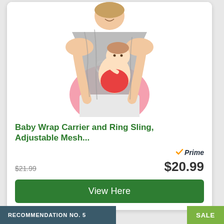[Figure (photo): A woman wearing a gray ring sling baby carrier, holding a baby/toddler in front of her. The woman is smiling and wearing a pink top with white pants. The baby is looking at the camera.]
Baby Wrap Carrier and Ring Sling, Adjustable Mesh...
Prime
$21.99   $20.99
View Here
RECOMMENDATION NO. 5
SALE